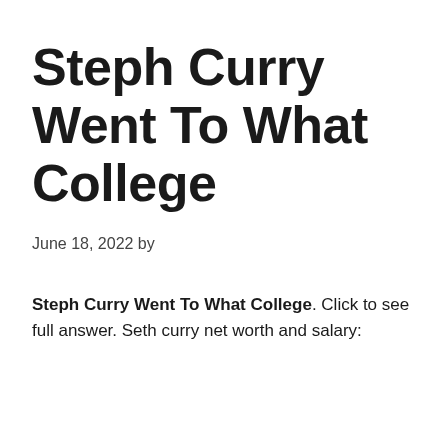Steph Curry Went To What College
June 18, 2022 by
Steph Curry Went To What College. Click to see full answer. Seth curry net worth and salary: